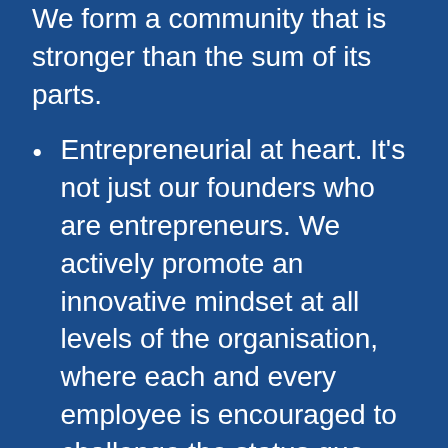We form a community that is stronger than the sum of its parts.
Entrepreneurial at heart. It’s not just our founders who are entrepreneurs. We actively promote an innovative mindset at all levels of the organisation, where each and every employee is encouraged to challenge the status quo and empowered to make decisions.
Growing employees in a growing company. With a team of smart, passionate and engaged colleagues, as